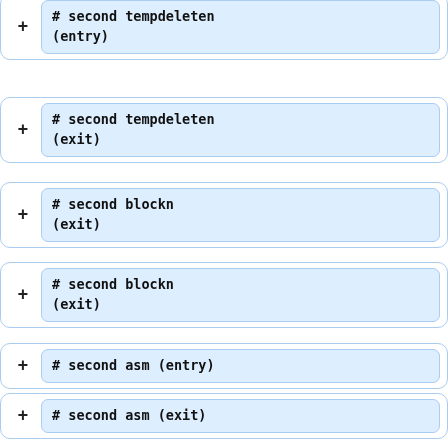# second tempdeleten (entry)
# second tempdeleten (exit)
# second blockn (exit)
# second blockn (exit)
# second asm (entry)
# second asm (exit)
# second blockn (entry)
# second nothing-nothg (entry)
# second nothing-nothg (exit)